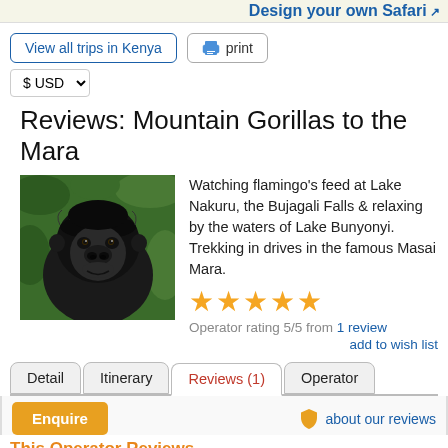Design your own Safari
View all trips in Kenya   print   $ USD
Reviews: Mountain Gorillas to the Mara
[Figure (photo): Close-up photo of a mountain gorilla with dark fur, looking forward, surrounded by green foliage]
Watching flamingo's feed at Lake Nakuru, the Bujagali Falls & relaxing by the waters of Lake Bunyonyi. Trekking in drives in the famous Masai Mara.
★★★★★ Operator rating 5/5 from 1 review
add to wish list
Detail   Itinerary   Reviews (1)   Operator
Enquire   about our reviews
This Operator Reviews
1. Client: Michael Humphreys - from Australia